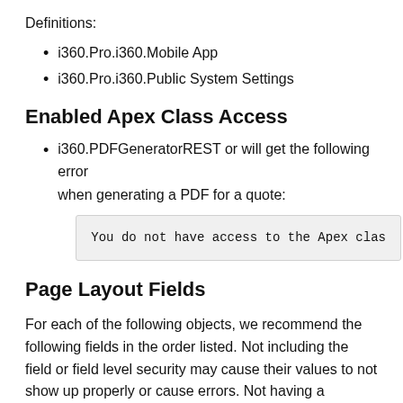Definitions:
i360.Pro.i360.Mobile App
i360.Pro.i360.Public System Settings
Enabled Apex Class Access
i360.PDFGeneratorREST or will get the following error when generating a PDF for a quote:
You do not have access to the Apex clas
Page Layout Fields
For each of the following objects, we recommend the following fields in the order listed. Not including the field or field level security may cause their values to not show up properly or cause errors. Not having a Related List in the page layout may cause the data to not be completely